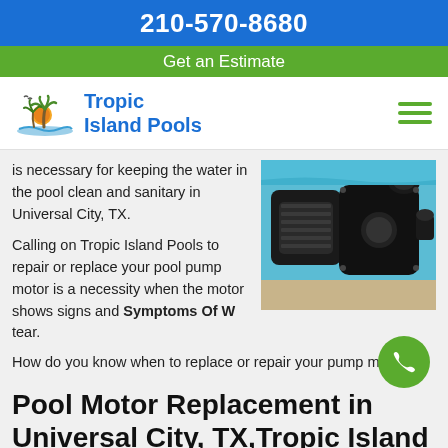210-570-8680
Get an Estimate
[Figure (logo): Tropic Island Pools logo with palm tree and sunset icon]
is necessary for keeping the water in the pool clean and sanitary in Universal City, TX.
[Figure (photo): Black pool pump motor beside a swimming pool]
Calling on Tropic Island Pools to repair or replace your pool pump motor is a necessity when the motor shows signs and Symptoms Of W…tear.
How do you know when to replace or repair your pump motor?
Pool Motor Replacement in Universal City, TX,Tropic Island